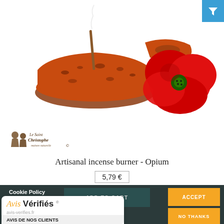[Figure (photo): Artisanal ceramic incense burner with terracotta/orange texture and a red poppy flower beside it, on white background]
[Figure (logo): Le Saint Christophe brand logo with illustrated figures and cursive text]
[Figure (other): Blue filter/funnel icon button in top right corner]
Artisanal incense burner - Opium
5,79 €
ADD TO CART
Cookie Policy
This site uses cookies to store information
ACCEPT
NO THANKS
[Figure (other): Avis Vérifiés popup widget showing AVIS DE NOS CLIENTS with 4.8/5 star rating]
Avis Vérifiés
AVIS DE NOS CLIENTS
★★★★★ 4.8/5